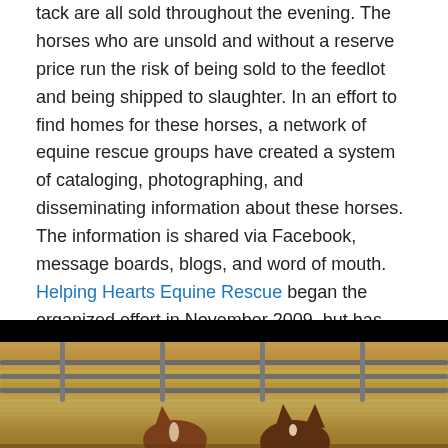tack are all sold throughout the evening. The horses who are unsold and without a reserve price run the risk of being sold to the feedlot and being shipped to slaughter. In an effort to find homes for these horses, a network of equine rescue groups have created a system of cataloging, photographing, and disseminating information about these horses. The information is shared via Facebook, message boards, blogs, and word of mouth. Helping Hearts Equine Rescue began the organized effort in November 2009, but has been working with the auction to pull horses in need long before then.
[Figure (photo): Photo of a horse or mule looking through metal fence/gate rails with hay bales visible in the background. The image has a black bar at the top.]